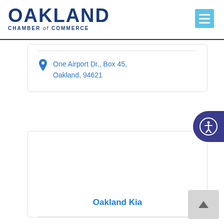[Figure (logo): Oakland Chamber of Commerce logo with large bold OAKLAND text and 'CHAMBER of COMMERCE' subtitle in dark blue]
One Airport Dr., Box 45, Oakland, 94621
Oakland Kia